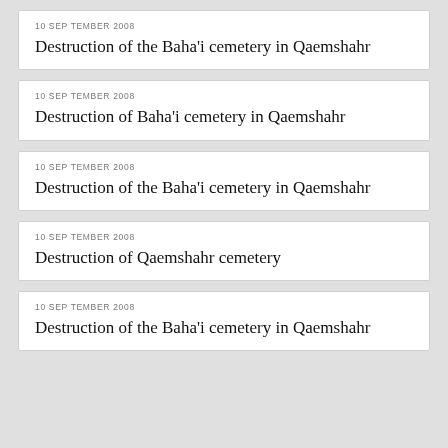10 SEPTEMBER 2008
Destruction of the Baha'i cemetery in Qaemshahr
10 SEPTEMBER 2008
Destruction of Baha'i cemetery in Qaemshahr
10 SEPTEMBER 2008
Destruction of the Baha'i cemetery in Qaemshahr
10 SEPTEMBER 2008
Destruction of Qaemshahr cemetery
10 SEPTEMBER 2008
Destruction of the Baha'i cemetery in Qaemshahr